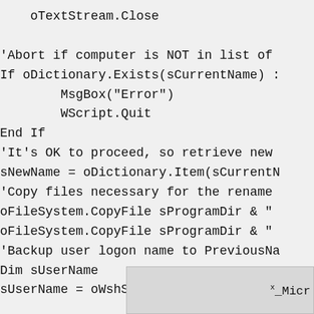oTextStream.Close

'Abort if computer is NOT in list of
If oDictionary.Exists(sCurrentName) :
        MsgBox("Error")
        WScript.Quit
End If
'It's OK to proceed, so retrieve new
sNewName = oDictionary.Item(sCurrentN
'Copy files necessary for the rename
oFileSystem.CopyFile sProgramDir & "
oFileSystem.CopyFile sProgramDir & "
'Backup user logon name to PreviousNa
Dim sUserName
sUserName = oWshShell.RegRead("HKLMS(
[Figure (screenshot): A partially visible overlay box at the bottom right showing truncated text '._Micr']